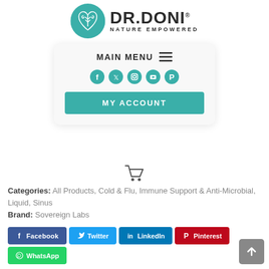[Figure (logo): Dr. Doni Nature Empowered logo with teal circular emblem containing a stylized heart/tree design and bold DR.DONI text]
[Figure (screenshot): Mobile website navigation card showing MAIN MENU with hamburger icon, social media icons (Facebook, Twitter, Instagram, YouTube, Pinterest), and MY ACCOUNT teal button]
[Figure (other): Shopping cart icon]
Categories: All Products, Cold & Flu, Immune Support & Anti-Microbial, Liquid, Sinus
Brand: Sovereign Labs
[Figure (infographic): Social share buttons row: Facebook (blue), Twitter (light blue), LinkedIn (dark blue), Pinterest (red), WhatsApp (green)]